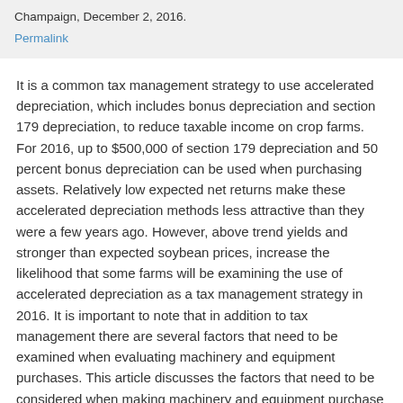Champaign, December 2, 2016.
Permalink
It is a common tax management strategy to use accelerated depreciation, which includes bonus depreciation and section 179 depreciation, to reduce taxable income on crop farms. For 2016, up to $500,000 of section 179 depreciation and 50 percent bonus depreciation can be used when purchasing assets. Relatively low expected net returns make these accelerated depreciation methods less attractive than they were a few years ago. However, above trend yields and stronger than expected soybean prices, increase the likelihood that some farms will be examining the use of accelerated depreciation as a tax management strategy in 2016. It is important to note that in addition to tax management there are several factors that need to be examined when evaluating machinery and equipment purchases. This article discusses the factors that need to be considered when making machinery and equipment purchase